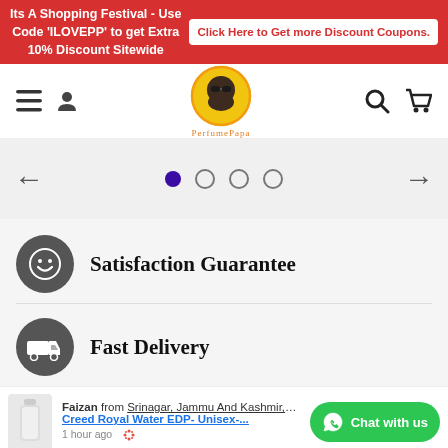Its A Shopping Festival - Use Code 'ILOVEPP' to get Extra 10% Discount Sitewide
Click Here to Get more Discount Coupons.
[Figure (logo): PerfumePapa logo: bearded man with sunglasses in yellow circle, text 'PerfumePapa' below]
[Figure (infographic): Image slider navigation with left arrow, 4 pagination dots (first filled/active), and right arrow]
Satisfaction Guarantee
Fast Delivery
Faizan from Srinagar, Jammu And Kashmir, IN
Creed Royal Water EDP- Unisex-...
1 hour ago
Chat with us